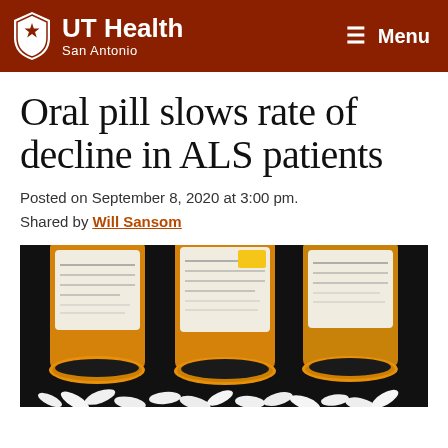UT Health San Antonio — Menu
Oral pill slows rate of decline in ALS patients
Posted on September 8, 2020 at 3:00 pm.
Shared by Will Sansom
[Figure (photo): Three orange prescription pill bottles with white pills spilling out, viewed from above against a dark background]